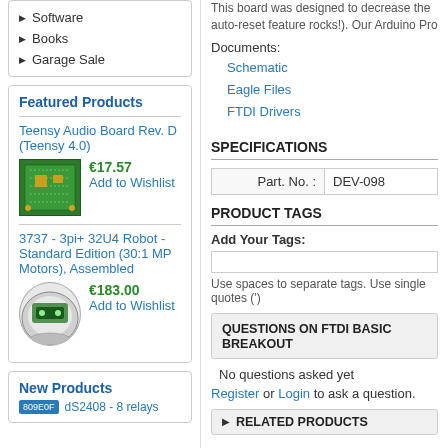Software
Books
Garage Sale
Featured Products
Teensy Audio Board Rev. D (Teensy 4.0)
€17.57
Add to Wishlist
3737 - 3pi+ 32U4 Robot - Standard Edition (30:1 MP Motors), Assembled
€183.00
Add to Wishlist
New Products
809E0F	dS2408 - 8 relays
This board was designed to decrease the auto-reset feature rocks!). Our Arduino Pro
Documents:
Schematic
Eagle Files
FTDI Drivers
SPECIFICATIONS
| Part. No. : | DEV-098 |
| --- | --- |
PRODUCT TAGS
Add Your Tags:
Use spaces to separate tags. Use single quotes (')
QUESTIONS ON FTDI BASIC BREAKOUT
No questions asked yet
Register or Login to ask a question.
▶ RELATED PRODUCTS